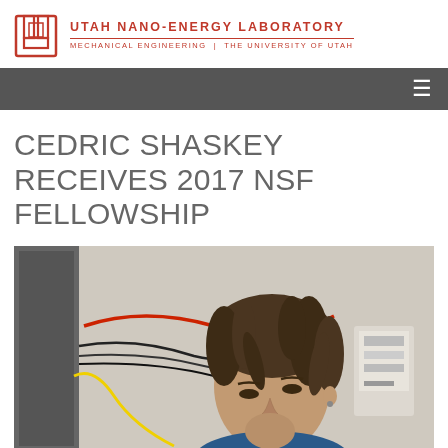UTAH NANO-ENERGY LABORATORY | MECHANICAL ENGINEERING | THE UNIVERSITY OF UTAH
CEDRIC SHASKEY RECEIVES 2017 NSF FELLOWSHIP
[Figure (photo): A young man with dreadlocks looking down at laboratory equipment, with wires and cables visible in the background. He appears to be working in a research lab setting.]